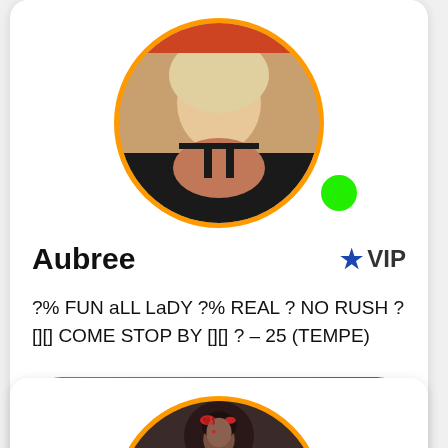[Figure (photo): Profile photo of Aubree, a blonde woman, shown in circular frame with orange border. Green online indicator dot visible at bottom right of avatar.]
Aubree
★ VIP
?% FUN aLL LaDY ?% REAL ? NO RUSH ? [][] COME STOP BY [][] ? – 25 (TEMPE)
View Profile
[Figure (photo): Partially visible profile photo of a second person with dark hair and red bow/accessory, circular frame with orange border.]